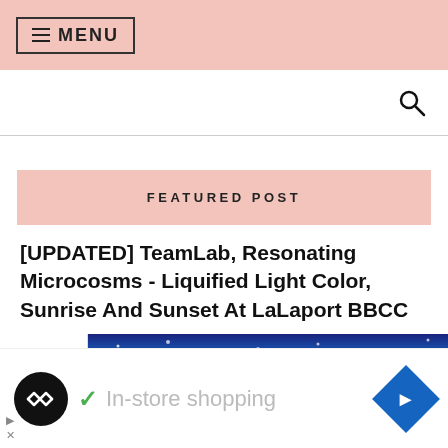≡ MENU
[Figure (screenshot): Search icon (magnifying glass) on white background with horizontal rule below]
[Figure (screenshot): Pink banner with text FEATURED POST]
[UPDATED] TeamLab, Resonating Microcosms - Liquified Light Color, Sunrise And Sunset At LaLaport BBCC
[Figure (photo): Dark blue sparkly background image strip with a chevron/down arrow button on the left side]
[Figure (screenshot): Advertisement bar at bottom: Loop app logo, checkmark, In-store shopping text, blue diamond navigation icon, close controls]